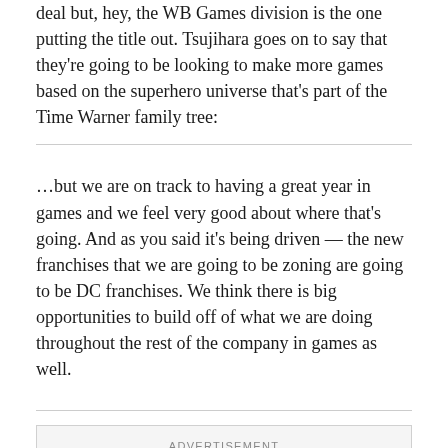deal but, hey, the WB Games division is the one putting the title out. Tsujihara goes on to say that they're going to be looking to make more games based on the superhero universe that's part of the Time Warner family tree:
…but we are on track to having a great year in games and we feel very good about where that's going. And as you said it's being driven — the new franchises that we are going to be zoning are going to be DC franchises. We think there is big opportunities to build off of what we are doing throughout the rest of the company in games as well.
[Figure (other): Advertisement placeholder box with ADVERTISEMENT label at top]